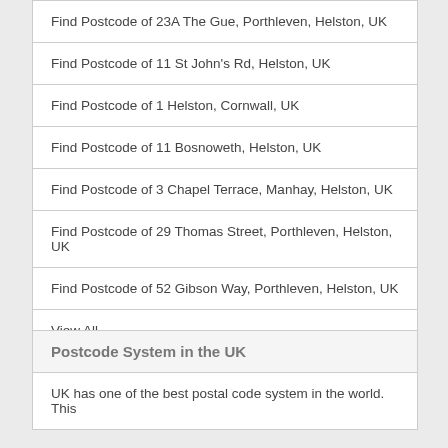Find Postcode of 23A The Gue, Porthleven, Helston, UK
Find Postcode of 11 St John's Rd, Helston, UK
Find Postcode of 1 Helston, Cornwall, UK
Find Postcode of 11 Bosnoweth, Helston, UK
Find Postcode of 3 Chapel Terrace, Manhay, Helston, UK
Find Postcode of 29 Thomas Street, Porthleven, Helston, UK
Find Postcode of 52 Gibson Way, Porthleven, Helston, UK
View All
Postcode System in the UK
UK has one of the best postal code system in the world. This